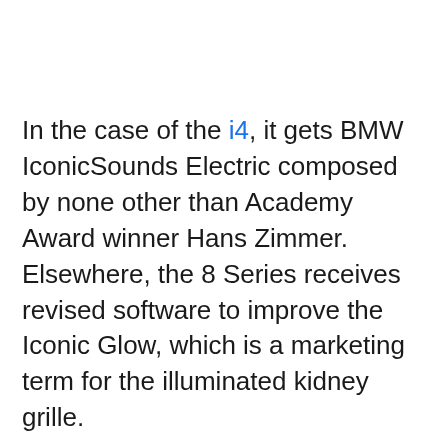In the case of the i4, it gets BMW IconicSounds Electric composed by none other than Academy Award winner Hans Zimmer. Elsewhere, the 8 Series receives revised software to improve the Iconic Glow, which is a marketing term for the illuminated kidney grille.